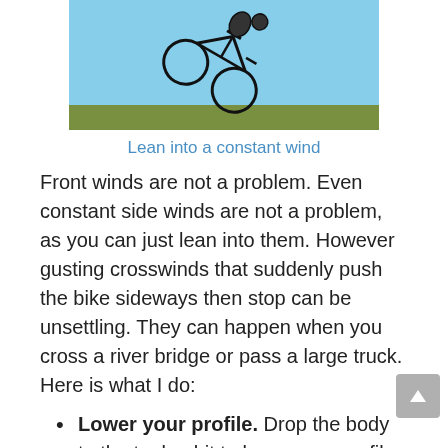[Figure (illustration): Illustration of a bicycle leaning sideways against a wind, with a blue sky and green ground strip. The bike appears tilted at an angle.]
Lean into a constant wind
Front winds are not a problem. Even constant side winds are not a problem, as you can just lean into them. However gusting crosswinds that suddenly push the bike sideways then stop can be unsettling. They can happen when you cross a river bridge or pass a large truck. Here is what I do:
Lower your profile. Drop the body to the tank a bit to lower your profile and reduce the crosswind effect.
Slow a bit. Going a bit slower can make the bike more stable, but not too slow as it is the centrifugal force of the wheels keeps you